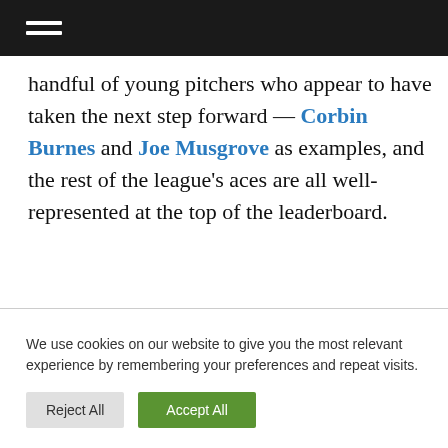≡ (hamburger menu icon)
handful of young pitchers who appear to have taken the next step forward — Corbin Burnes and Joe Musgrove as examples, and the rest of the league's aces are all well-represented at the top of the leaderboard.
We use cookies on our website to give you the most relevant experience by remembering your preferences and repeat visits.